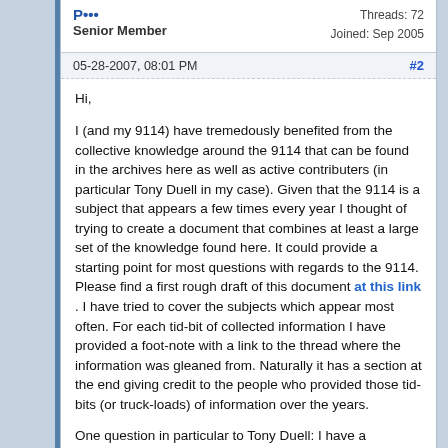Threads: 72
Joined: Sep 2005
Senior Member
05-28-2007, 08:01 PM  #2
Hi,

I (and my 9114) have tremedously benefited from the collective knowledge around the 9114 that can be found in the archives here as well as active contributers (in particular Tony Duell in my case). Given that the 9114 is a subject that appears a few times every year I thought of trying to create a document that combines at least a large set of the knowledge found here. It could provide a starting point for most questions with regards to the 9114. Please find a first rough draft of this document at this link . I have tried to cover the subjects which appear most often. For each tid-bit of collected information I have provided a foot-note with a link to the thread where the information was gleaned from. Naturally it has a section at the end giving credit to the people who provided those tid-bits (or truck-loads) of information over the years.

One question in particular to Tony Duell: I have a reference to your datafile article on how to clean the 9114. Yet as it is your article I was unsure if you would want it included in the